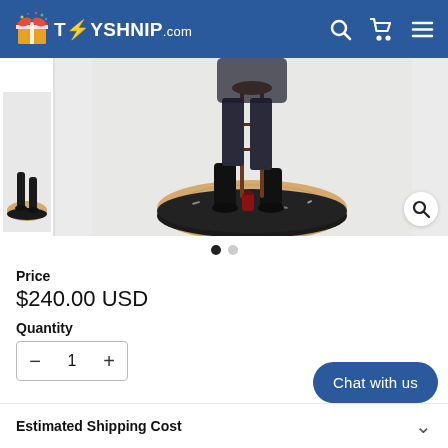TOYSHNIP.com
[Figure (photo): Product photo of a figurine/statue showing a character seated on a bar stool on a wooden round base, wearing black boots and dark jeans, with debris on the base. Shown in main view with thumbnail strip on left.]
Price
$240.00 USD
Quantity
- 1 +
Chat with us
Estimated Shipping Cost